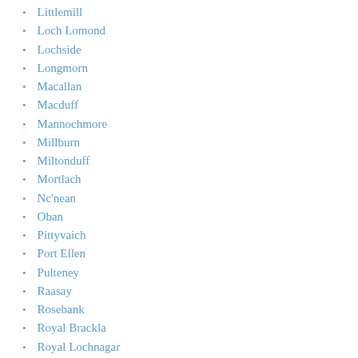Littlemill
Loch Lomond
Lochside
Longmorn
Macallan
Macduff
Mannochmore
Millburn
Miltonduff
Mortlach
Nc'nean
Oban
Pittyvaich
Port Ellen
Pulteney
Raasay
Rosebank
Royal Brackla
Royal Lochnagar
Scapa
Speyburn
Speyside
Springbank
St Magdalene
Strathearn
Strathisla
Strathmill